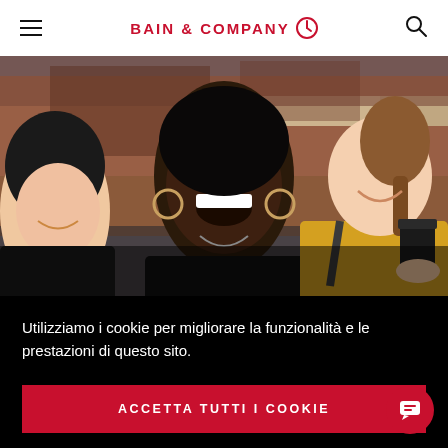BAIN & COMPANY
[Figure (photo): Three women smiling and laughing outdoors in an urban setting. One woman on left with dark hair, one in center with hoop earrings, one on right in yellow top holding a coffee cup.]
Utilizziamo i cookie per migliorare la funzionalità e le prestazioni di questo sito.
ACCETTA TUTTI I COOKIE
Gestisci le impostazioni dei cookie ▶